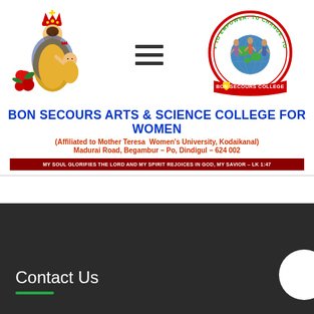[Figure (logo): Left logo: Virgin Mary holding baby Jesus with red roses, wearing crown]
[Figure (logo): Hamburger menu icon — three horizontal black bars]
[Figure (logo): Right logo: Bon Secours College circular seal with women figures and globe, red banner at bottom reading BON SECOURS COLLEGE, text around circle: TO EMPOWER. TO CHANGE. TO LIVE]
BON SECOURS ARTS & SCIENCE COLLEGE FOR WOMEN
(Affiliated to Mother Teresa  Women's University, Kodaikanal)
Madurai Road, Begambur – Po, Dindigul – 624 002
MY SOUL GLORIFIES THE LORD AND MY SPIRIT REJOICES IN GOD, MY SAVIOR – LK 1:47
Contact Us